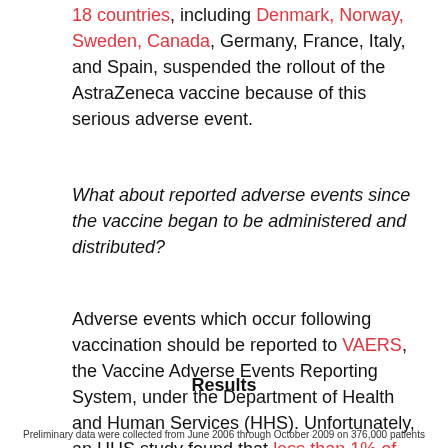18 countries, including Denmark, Norway, Sweden, Canada, Germany, France, Italy, and Spain, suspended the rollout of the AstraZeneca vaccine because of this serious adverse event.
What about reported adverse events since the vaccine began to be administered and distributed?
Adverse events which occur following vaccination should be reported to VAERS, the Vaccine Adverse Events Reporting System, under the Department of Health and Human Services (HHS). Unfortunately, an HHS study found that less than 1% of adverse events are reported.
Results
Preliminary data were collected from June 2006 through October 2009 on 376,000 patients...